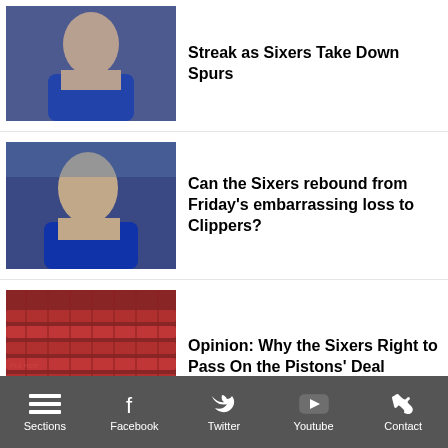Streak as Sixers Take Down Spurs
[Figure (photo): Philadelphia 76ers player in blue hoodie, top article image]
Can the Sixers rebound from Friday's embarrassing loss to Clippers?
[Figure (photo): Joel Embiid in blue hoodie looking down, second article image]
Opinion: Why the Sixers Right to Pass On the Pistons' Deal
[Figure (photo): Red arena seats at Philadelphia 76ers arena, third article image]
[Figure (photo): Partially visible fourth article image at bottom]
Sections  Facebook  Twitter  Youtube  Contact